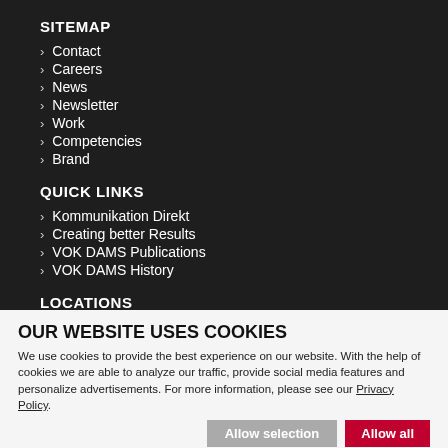SITEMAP
Contact
Careers
News
Newsletter
Work
Competencies
Brand
QUICK LINKS
Kommunikation Direkt
Creating better Results
VOK DAMS Publications
VOK DAMS History
LOCATIONS
OUR WEBSITE USES COOKIES
We use cookies to provide the best experience on our website. With the help of cookies we are able to analyze our traffic, provide social media features and personalize advertisements. For more information, please see our Privacy Policy.
Allow selection | Allow all
Necessary  Preferences  Statistics  Marketing  Show details